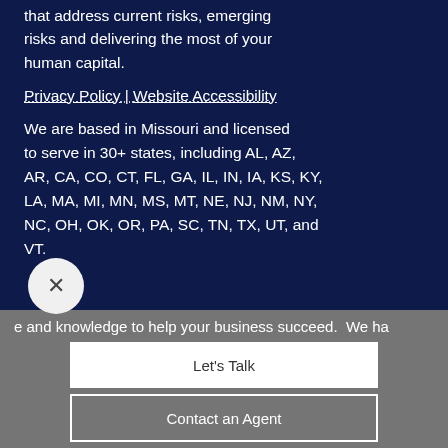that address current risks, emerging risks and delivering the most of your human capital.
Privacy Policy | Website Accessibility
We are based in Missouri and licensed to serve in 30+ states, including AL, AZ, AR, CA, CO, CT, FL, GA, IL, IN, IA, KS, KY, LA, MA, MI, MN, MS, MT, NE, NJ, NM, NY, NC, OH, OK, OR, PA, SC, TN, TX, UT, and VT.
e and knowledge to help your business succeed.  We ha
Let's Talk
Contact an Agent